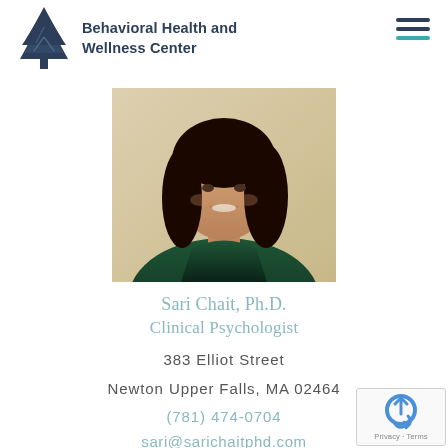[Figure (logo): Tree logo for Behavioral Health and Wellness Center]
Behavioral Health and Wellness Center
[Figure (photo): Headshot photo of Sari Chait, Ph.D., a woman with dark hair wearing a green top, smiling]
Sari Chait, Ph.D.
Clinical Psychologist
383 Elliot Street
Newton Upper Falls, MA 02464
(781) 474-0704
sari@sarichaitphd.com